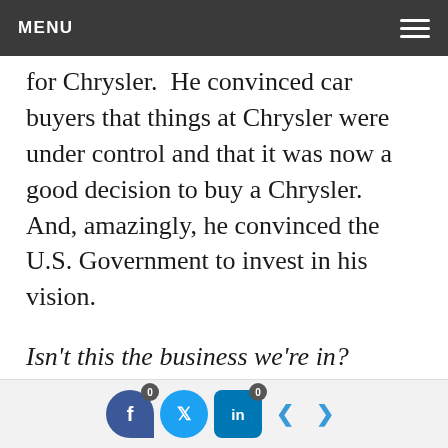MENU
for Chrysler.  He convinced car buyers that things at Chrysler were under control and that it was now a good decision to buy a Chrysler.  And, amazingly, he convinced the U.S. Government to invest in his vision.
Isn't this the business we're in?  Every day clients say “yes” because they believe in not only what we are telling them, but who we are.  They are more often than not saying “yes” to a person, not a product.